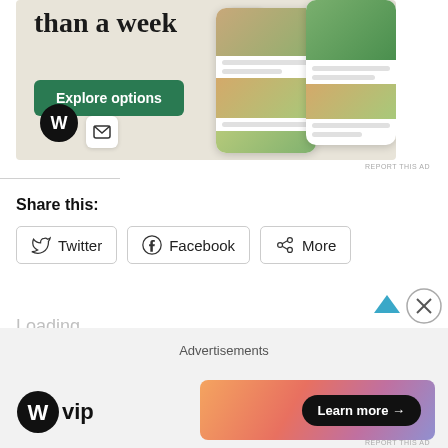[Figure (screenshot): WordPress website builder advertisement showing 'than a week' headline, Explore options button, food-related app screenshots on phone mockups, WordPress logo, and a small envelope icon. Beige/cream background.]
REPORT THIS AD
Share this:
[Figure (other): Twitter share button with bird icon]
[Figure (other): Facebook share button with F icon]
[Figure (other): More share button with share icon]
Loading...
Advertisements
[Figure (logo): WordPress VIP logo - circle W mark with 'vip' text]
[Figure (other): Learn more button on gradient orange-pink banner]